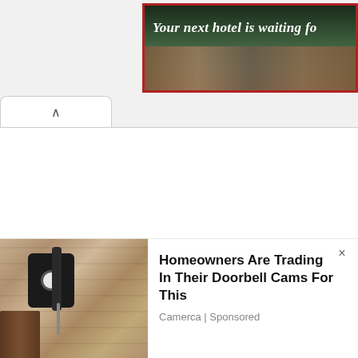[Figure (screenshot): Advertisement banner with dark green/forest background and red border. Text reads 'Your next hotel is waiting fo' (truncated). Shows a hotel or resort building in the background photo strip.]
[Figure (screenshot): Browser UI element showing a tab with an up-chevron/caret arrow symbol, indicating a collapsible or scrollable panel. White background with light gray border.]
[Figure (photo): Photo of a security camera or smart camera mounted on an outdoor wall lantern/lamp fixture on a beige/tan stucco wall, with a dark wood panel visible at lower left.]
Homeowners Are Trading In Their Doorbell Cams For This
Camerca | Sponsored